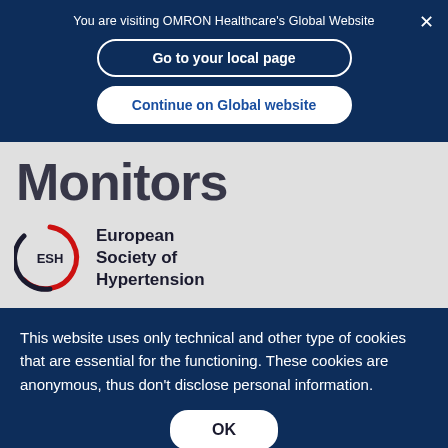You are visiting OMRON Healthcare's Global Website
Go to your local page
Continue on Global website
Monitors
[Figure (logo): European Society of Hypertension (ESH) logo — circular red and black arc with ESH text inside, followed by text 'European Society of Hypertension']
This website uses only technical and other type of cookies that are essential for the functioning. These cookies are anonymous, thus don't disclose personal information.
OK